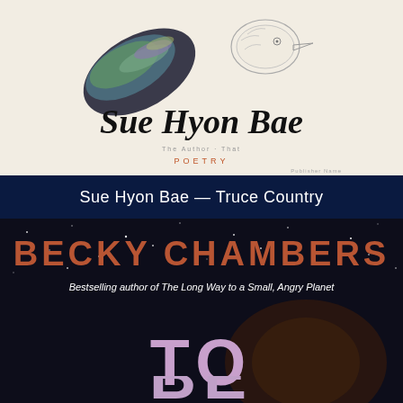[Figure (illustration): Book cover of 'Truce Country' by Sue Hyon Bae — a poetry collection. Cover shows a hummingbird with iridescent dark wing on left, and a pencil-sketch bird head on right, against a light cream background. Author name 'Sue Hyon Bae' in large italic serif font, with 'POETRY' in small orange uppercase letters below.]
Sue Hyon Bae — Truce Country
[Figure (illustration): Book cover showing 'BECKY CHAMBERS' in large brick-red uppercase letters on a dark starry night sky background. Subtitle text reads 'Bestselling author of The Long Way to a Small, Angry Planet'. Below that, large stylized letters 'TO BE' in lavender/pink letters, partially cut off.]